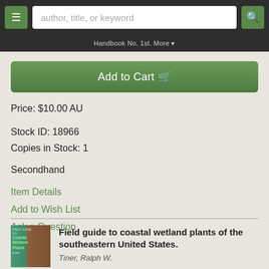[Figure (screenshot): Navigation bar with menu button, search input placeholder 'author, title, or keyword', and search button]
Handbook No. 1st. More
[Figure (screenshot): Green 'Add to Cart' button with shopping cart icon]
Price: $10.00 AU
Stock ID: 18966
Copies in Stock: 1
Secondhand
Item Details
Add to Wish List
Ask a Question
[Figure (photo): Book cover thumbnail for 'Field Guide to Coastal Wetland Plants' showing teal/green and brown wood grain sections]
Field guide to coastal wetland plants of the southeastern United States.
Tiner, Ralph W.